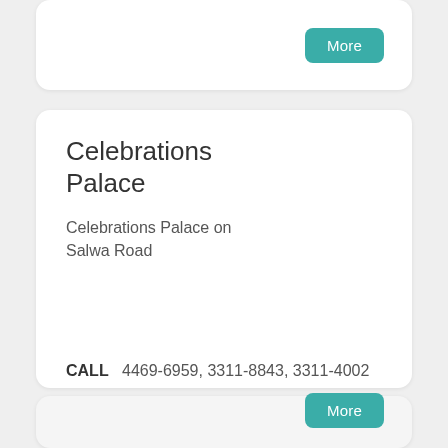More
Celebrations Palace
Celebrations Palace on Salwa Road
CALL   4469-6959, 3311-8843, 3311-4002
Visit website
More